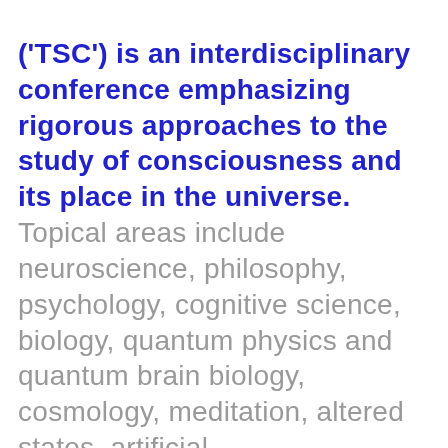('TSC') is an interdisciplinary conference emphasizing rigorous approaches to the study of consciousness and its place in the universe. Topical areas include neuroscience, philosophy, psychology, cognitive science, biology, quantum physics and quantum brain biology, cosmology, meditation, altered states, artificial intelligence/machine consciousness, the nature of reality, culture and experiential